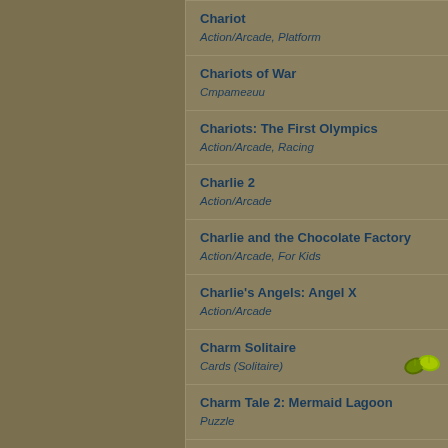Chariot
Action/Arcade, Platform
Chariots of War
Стратегии
Chariots: The First Olympics
Action/Arcade, Racing
Charlie 2
Action/Arcade
Charlie and the Chocolate Factory
Action/Arcade, For Kids
Charlie's Angels: Angel X
Action/Arcade
Charm Solitaire
Cards (Solitaire)
Charm Tale 2: Mermaid Lagoon
Puzzle
Charma: The Land of Enchantment
Puzzle